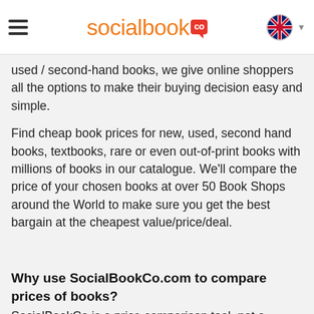socialbook CO
used / second-hand books, we give online shoppers all the options to make their buying decision easy and simple.
Find cheap book prices for new, used, second hand books, textbooks, rare or even out-of-print books with millions of books in our catalogue. We'll compare the price of your chosen books at over 50 Book Shops around the World to make sure you get the best bargain at the cheapest value/price/deal.
Why use SocialBookCo.com to compare prices of books?
SocialBookCo is a price comparison tool, not a bookshop. We'll…